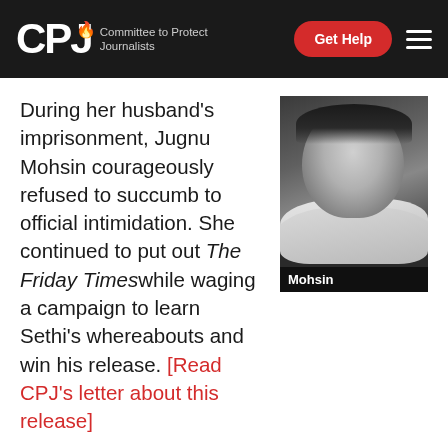CPJ — Committee to Protect Journalists | Get Help
During her husband's imprisonment, Jugnu Mohsin courageously refused to succumb to official intimidation. She continued to put out The Friday Times while waging a campaign to learn Sethi's whereabouts and win his release. [Read CPJ's letter about this release]
[Figure (photo): Black and white portrait photo of Jugnu Mohsin with caption 'Mohsin']
The Friday Times is an equal opportunity offender that has locked horns with all of Pakistan's leaders